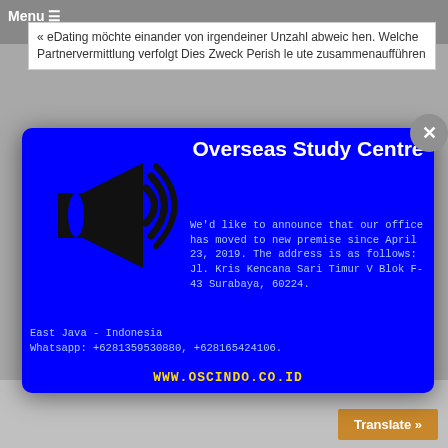« eDating möchte einander von irgendeiner Unzahl abweichen. Welche Partnervermittlung verfolgt Dies Zweck Perish leute zusammenaufführen
[Figure (infographic): Blue modal popup for Overseas Study Centre with megaphone icon on left, title 'Overseas Study Centre', announcement text about office move, contact info, and website URL. Has a grey close button (X) in top right corner.]
Overseas Study Centre
We'd like to announce that our office has moved to new premise since April 23, 2019. The address is as follows: Jl. Kris Kencana Sari Timur V Blok F-43 Surabaya, 60224.
East Java - Indonesia
Whatsapp: +6281359530880, +628165424106.
WWW.OSCINDO.CO.ID
Translate »